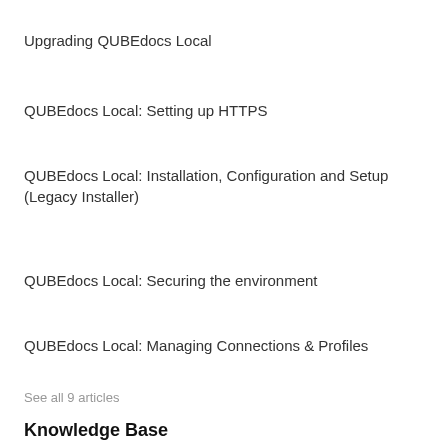Upgrading QUBEdocs Local
QUBEdocs Local: Setting up HTTPS
QUBEdocs Local: Installation, Configuration and Setup (Legacy Installer)
QUBEdocs Local: Securing the environment
QUBEdocs Local: Managing Connections & Profiles
See all 9 articles
Knowledge Base